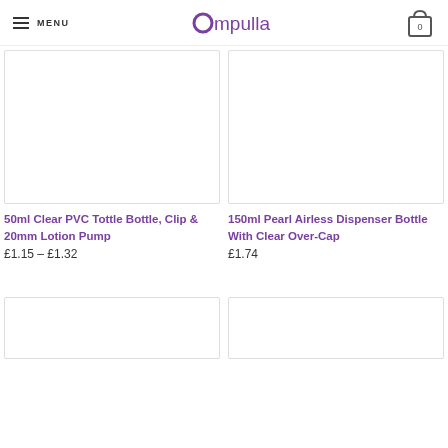MENU | Ampulla | 0
[Figure (photo): Product image placeholder box for 50ml Clear PVC Tottle Bottle]
50ml Clear PVC Tottle Bottle, Clip & 20mm Lotion Pump
£1.15 – £1.32
[Figure (photo): Product image placeholder box for 150ml Pearl Airless Dispenser Bottle]
150ml Pearl Airless Dispenser Bottle With Clear Over-Cap
£1.74
[Figure (photo): Product image placeholder box (partial, bottom left)]
[Figure (photo): Product image placeholder box (partial, bottom right)]